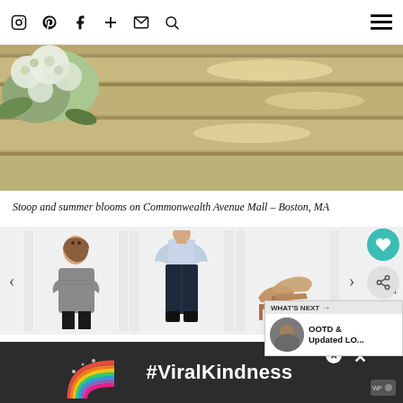Social media icons: Instagram, Pinterest, Facebook, Plus, Email, Search, Menu
[Figure (photo): Photo of stone steps with white hydrangea blooms on the left side, sunlight casting shadows across the steps — Commonwealth Avenue Mall, Boston, MA]
Stoop and summer blooms on Commonwealth Avenue Mall – Boston, MA
[Figure (photo): Product carousel showing three fashion items: a grey ribbed sweater on a model, dark navy slim pants on a model, and tan/nude heeled pumps. Left and right navigation arrows. Heart (save) button and share button on the right. 'WHAT'S NEXT' overlay with thumbnail and text 'OOTD & Updated LO...']
OUTFIT DETAILS: Ann Taylor items, c/o Ann Taylor. Puppytooth
[Figure (screenshot): Advertisement banner: dark background with a rainbow illustration on the left and bold white text '#ViralKindness'. Close X button visible. Small logo bottom right.]